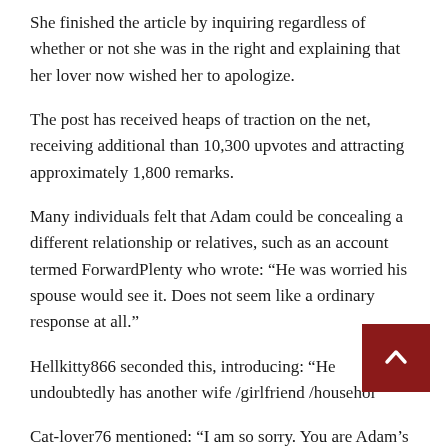She finished the article by inquiring regardless of whether or not she was in the right and explaining that her lover now wished her to apologize.
The post has received heaps of traction on the net, receiving additional than 10,300 upvotes and attracting approximately 1,800 remarks.
Many individuals felt that Adam could be concealing a different relationship or relatives, such as an account termed ForwardPlenty who wrote: “He was worried his spouse would see it. Does not seem like a ordinary response at all.”
Hellkitty866 seconded this, introducing: “He undoubtedly has another wife /girlfriend /househol
Cat-lover76 mentioned: “I am so sorry. You are Adam’s “bit on the facet.” He’s either married, or in a extended-